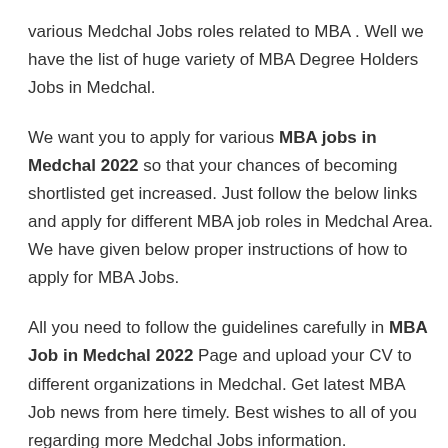various Medchal Jobs roles related to MBA . Well we have the list of huge variety of MBA Degree Holders Jobs in Medchal.
We want you to apply for various MBA jobs in Medchal 2022 so that your chances of becoming shortlisted get increased. Just follow the below links and apply for different MBA job roles in Medchal Area. We have given below proper instructions of how to apply for MBA Jobs.
All you need to follow the guidelines carefully in MBA Job in Medchal 2022 Page and upload your CV to different organizations in Medchal. Get latest MBA Job news from here timely. Best wishes to all of you regarding more Medchal Jobs information.